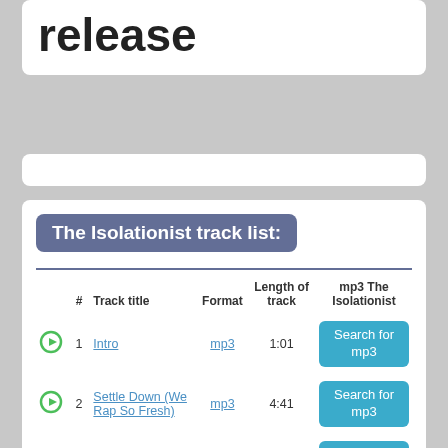The Isolationist release
The Isolationist track list:
| # | Track title | Format | Length of track | mp3 The Isolationist |
| --- | --- | --- | --- | --- |
| 1 | Intro | mp3 | 1:01 | Search for mp3 |
| 2 | Settle Down (We Rap So Fresh) | mp3 | 4:41 | Search for mp3 |
| 3 | A Word From Our Sponsor | mp3 | 0:43 | Search for mp3 |
| 4 | Hydrogen Slush | mp3 | 5:12 | Search for mp3 |